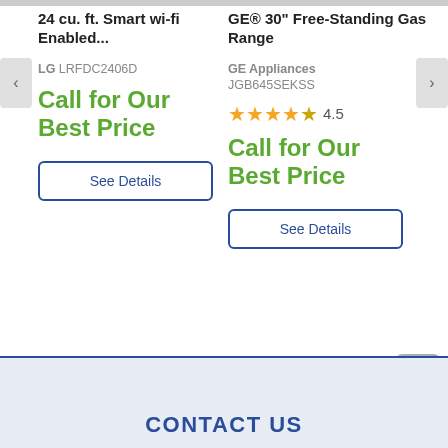24 cu. ft. Smart wi-fi Enabled...
LG LRFDC2406D
Call for Our Best Price
See Details
GE® 30" Free-Standing Gas Range
GE Appliances JGB645SEKSS
4.5
Call for Our Best Price
See Details
CONTACT US